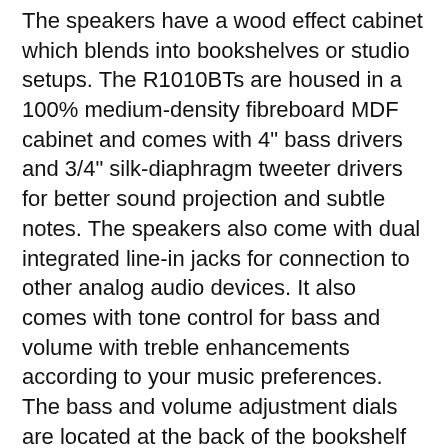The speakers have a wood effect cabinet which blends into bookshelves or studio setups. The R1010BTs are housed in a 100% medium-density fibreboard MDF cabinet and comes with 4" bass drivers and 3/4" silk-diaphragm tweeter drivers for better sound projection and subtle notes. The speakers also come with dual integrated line-in jacks for connection to other analog audio devices. It also comes with tone control for bass and volume with treble enhancements according to your music preferences. The bass and volume adjustment dials are located at the back of the bookshelf speaker. The R1010BT speakers are also Bluetooth ready which allows you to connect virtually any Bluetooth smartphone device and play music without the need for additional wiring.
The Verdict? The Edifier R1010BT delivers natural sound performance and clear studio sound. It is one of the best studio monitor speakers that comes with Bluetooth 4.0 connectivity and 2 auxiliary inputs for dual RCA output. It comes with a classic wood finish